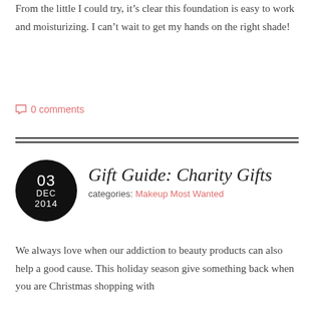From the little I could try, it’s clear this foundation is easy to work and moisturizing. I can’t wait to get my hands on the right shade!
○ 0 comments
Gift Guide: Charity Gifts
categories: Makeup Most Wanted
We always love when our addiction to beauty products can also help a good cause. This holiday season give something back when you are Christmas shopping with